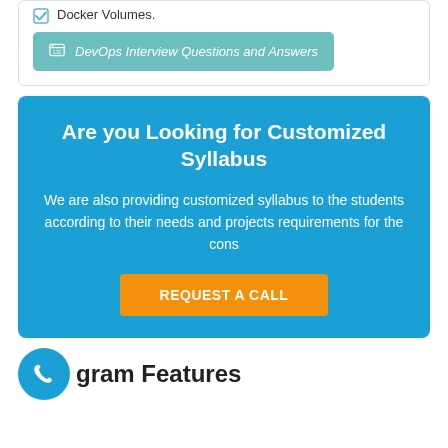Docker Volumes.
DevOps Interview Questions and Answers
Are you Looking for Customized Syllabus
We are also providing customized syllabus to the students according to their needs and projects requirements for the cons
REQUEST A CALL
gram Features